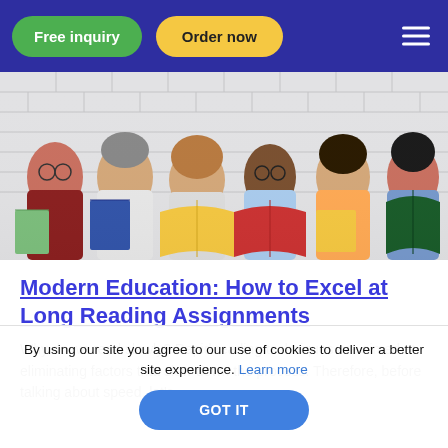Free inquiry | Order now
[Figure (photo): Six diverse students sitting against a white brick wall, each holding or reading colorful books, smiling and laughing]
Modern Education: How to Excel at Long Reading Assignments
Why do we read slowly? Rapid reading techniques are aimed at eliminating factors that slow down the process. Therefore, before talking about speed, let's
By using our site you agree to our use of cookies to deliver a better site experience. Learn more
GOT IT